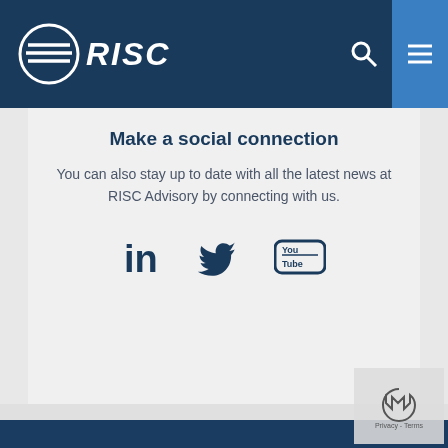RISC Advisory
Make a social connection
You can also stay up to date with all the latest news at RISC Advisory by connecting with us.
[Figure (illustration): Social media icons: LinkedIn, Twitter, YouTube]
[Figure (photo): Dark blue overlay photo of people in a business setting, bottom portion of page]